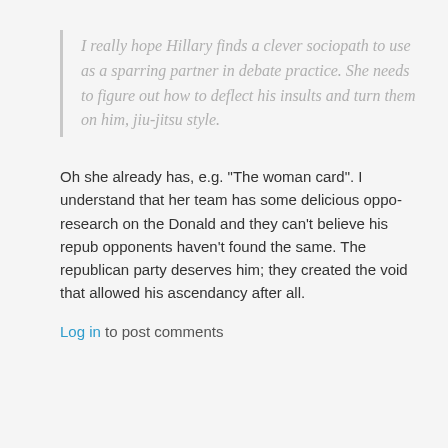I really hope Hillary finds a clever sociopath to use as a sparring partner in debate practice. She needs to figure out how to deflect his insults and turn them on him, jiu-jitsu style.
Oh she already has, e.g. "The woman card". I understand that her team has some delicious oppo-research on the Donald and they can't believe his repub opponents haven't found the same. The republican party deserves him; they created the void that allowed his ascendancy after all.
Log in to post comments